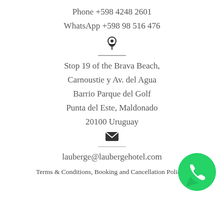Phone +598 4248 2601
WhatsApp +598 98 516 476
Stop 19 of the Brava Beach,
Carnoustie y Av. del Agua
Barrio Parque del Golf
Punta del Este, Maldonado
20100 Uruguay
lauberge@laubergehotel.com
Terms & Conditions, Booking and Cancellation Policies
[Figure (illustration): WhatsApp green phone bubble icon in bottom right corner]